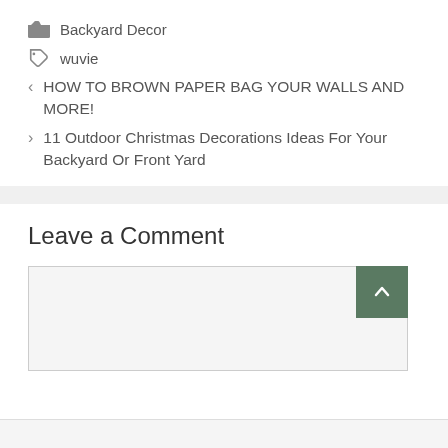Backyard Decor
wuvie
< HOW TO BROWN PAPER BAG YOUR WALLS AND MORE!
> 11 Outdoor Christmas Decorations Ideas For Your Backyard Or Front Yard
Leave a Comment